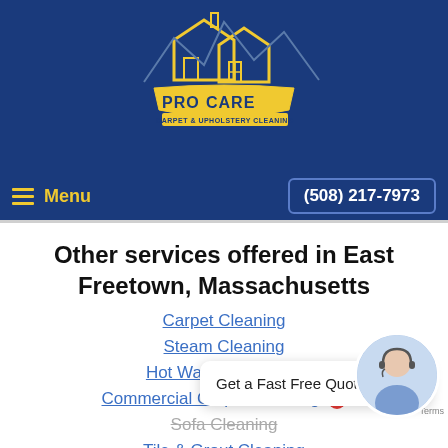[Figure (logo): ProCare Carpet & Upholstery Cleaning logo with yellow house/building icon on dark blue background]
Menu   (508) 217-7973
Other services offered in East Freetown, Massachusetts
Carpet Cleaning
Steam Cleaning
Hot Water Extraction
Commercial Carpet Cleaning
Get a Fast Free Quote Today!
Sofa Cleaning
Tile & Grout Cleaning